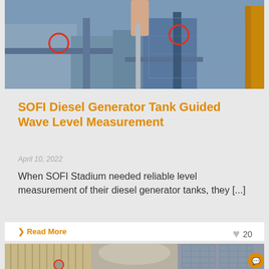[Figure (photo): Industrial equipment photo showing diesel generator tanks with pipes and machinery, a hand holding a metal rod visible]
SOFI Diesel Generator Tank Guided Wave Level Measurement
April 10, 2022
When SOFI Stadium needed reliable level measurement of their diesel generator tanks, they [...]
Read More
20
[Figure (photo): Industrial tanks and equipment installation photo with red circles highlighting specific measurement sensors/devices]